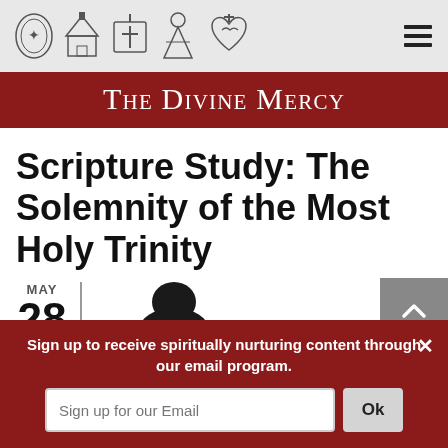The Divine Mercy — navigation header with icons and hamburger menu
The Divine Mercy
Scripture Study: The Solemnity of the Most Holy Trinity
MAY 28
Sign up to receive spiritually nurturing content through our email program.